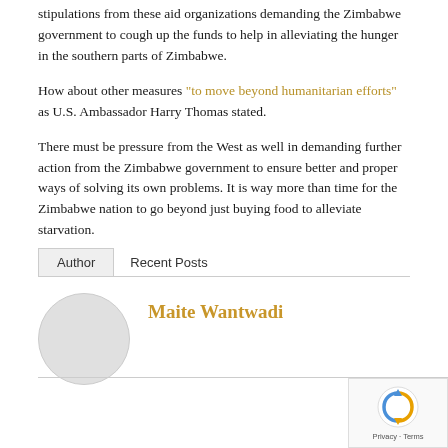stipulations from these aid organizations demanding the Zimbabwe government to cough up the funds to help in alleviating the hunger in the southern parts of Zimbabwe.
How about other measures "to move beyond humanitarian efforts" as U.S. Ambassador Harry Thomas stated.
There must be pressure from the West as well in demanding further action from the Zimbabwe government to ensure better and proper ways of solving its own problems. It is way more than time for the Zimbabwe nation to go beyond just buying food to alleviate starvation.
Author | Recent Posts
Maite Wantwadi
[Figure (photo): Circular author avatar placeholder in light gray]